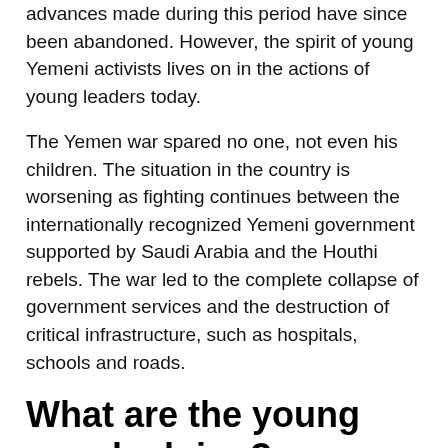advances made during this period have since been abandoned. However, the spirit of young Yemeni activists lives on in the actions of young leaders today.
The Yemen war spared no one, not even his children. The situation in the country is worsening as fighting continues between the internationally recognized Yemeni government supported by Saudi Arabia and the Houthi rebels. The war led to the complete collapse of government services and the destruction of critical infrastructure, such as hospitals, schools and roads.
What are the young people doing?
Although the war is not over, young Yemeni activists are stepping up their support for their number one priority: peace. They combine humanitarian initiatives with development components to create a sustainable approach to peacebuilding. This includes advocating for small businesses like food carts and home delivery kitchens, using social media skills to raise awareness of public health and safety,